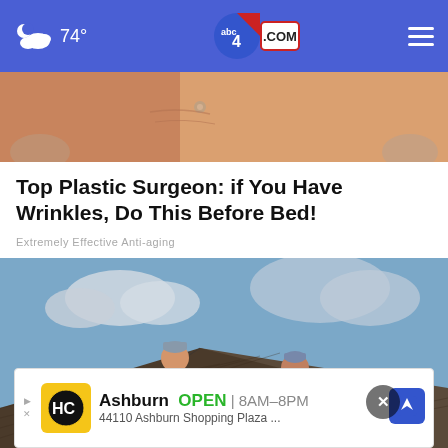74° abc4.com
[Figure (photo): Close-up of a person's face, skin near eye area, fingers visible at edges]
Top Plastic Surgeon: if You Have Wrinkles, Do This Before Bed!
Extremely Effective Anti-aging
[Figure (photo): Two workers in blue shirts laying shingles on a rooftop against a partly cloudy sky]
Ashburn  OPEN | 8AM–8PM  44110 Ashburn Shopping Plaza ...